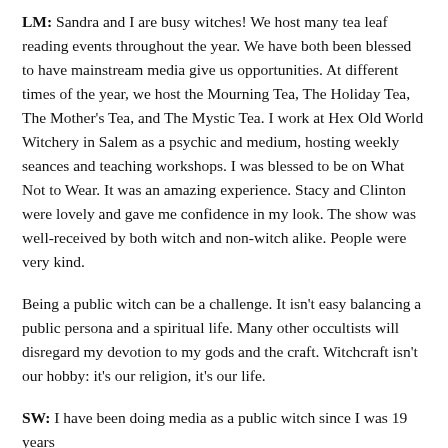LM: Sandra and I are busy witches! We host many tea leaf reading events throughout the year. We have both been blessed to have mainstream media give us opportunities. At different times of the year, we host the Mourning Tea, The Holiday Tea, The Mother's Tea, and The Mystic Tea. I work at Hex Old World Witchery in Salem as a psychic and medium, hosting weekly seances and teaching workshops. I was blessed to be on What Not to Wear. It was an amazing experience. Stacy and Clinton were lovely and gave me confidence in my look. The show was well-received by both witch and non-witch alike. People were very kind.
Being a public witch can be a challenge. It isn't easy balancing a public persona and a spiritual life. Many other occultists will disregard my devotion to my gods and the craft. Witchcraft isn't our hobby: it's our religion, it's our life.
SW: I have been doing media as a public witch since I was 19 years